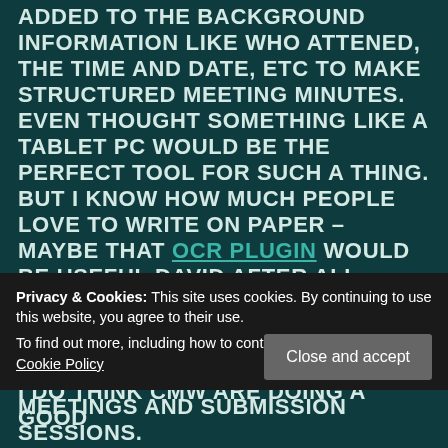ADDED TO THE BACKGROUND INFORMATION LIKE WHO ATTENED, THE TIME AND DATE, ETC TO MAKE STRUCTURED MEETING MINUTES. EVEN THOUGHT SOMETHING LIKE A TABLET PC WOULD BE THE PERFECT TOOL FOR SUCH A THING. BUT I KNOW HOW MUCH PEOPLE LOVE TO WRITE ON PAPER – MAYBE THAT OCR PLUGIN WOULD BE USEFUL DAVID AFTER ALL.
ANYWAY, I'M GOING OFF TOPIC HERE.
I DO THINK CMW ARE DOING A GOOD
Privacy & Cookies: This site uses cookies. By continuing to use this website, you agree to their use.
To find out more, including how to control cookies, see here: Cookie Policy
Close and accept
MEETINGS AND SUBMISSION SESSIONS.